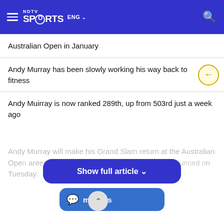NDTV Sports ENG
Australian Open in January
Andy Murray has been slowly working his way back to fitness
Andy Muirray is now ranked 289th, up from 503rd just a week ago
Andy Murray will make his Grand Slam return at the Australian Open career-saving hip surgery, the organisers announced on Tuesday.